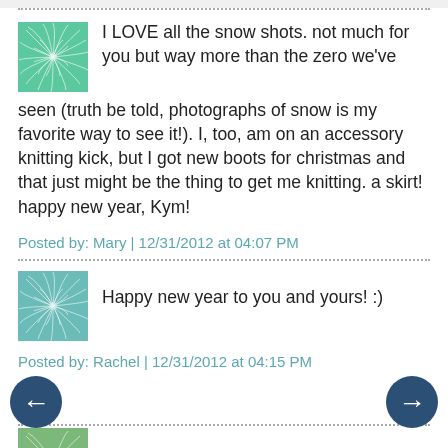I LOVE all the snow shots. not much for you but way more than the zero we've seen (truth be told, photographs of snow is my favorite way to see it!). I, too, am on an accessory knitting kick, but I got new boots for christmas and that just might be the thing to get me knitting. a skirt! happy new year, Kym!
Posted by: Mary | 12/31/2012 at 04:07 PM
Happy new year to you and yours! :)
Posted by: Rachel | 12/31/2012 at 04:15 PM